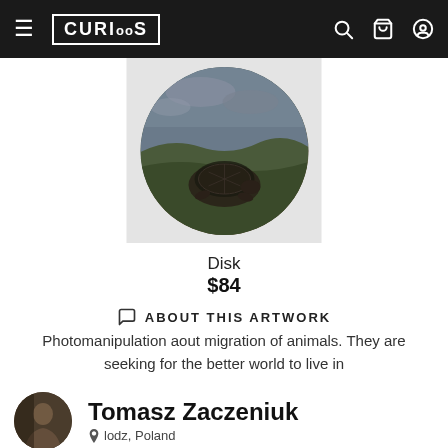CURIOOS
[Figure (photo): Circular photomanipulation artwork showing a tortoise in a dramatic landscape with stormy sky, displayed in a round frame on a light gray background]
Disk
$84
ABOUT THIS ARTWORK
Photomanipulation aout migration of animals. They are seeking for the better world to live in
[Figure (photo): Small circular avatar photo of artist Tomasz Zaczeniuk, showing a person in dark tones]
Tomasz Zaczeniuk
lodz, Poland